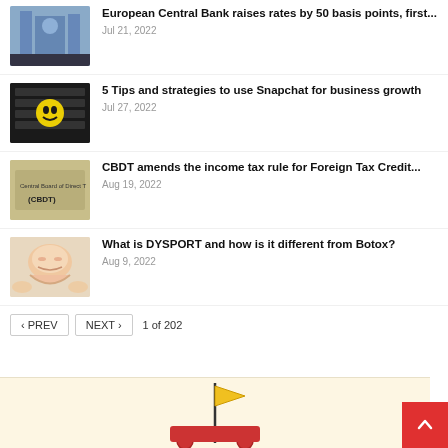European Central Bank raises rates by 50 basis points, first... Jul 21, 2022
5 Tips and strategies to use Snapchat for business growth Jul 27, 2022
CBDT amends the income tax rule for Foreign Tax Credit... Aug 19, 2022
What is DYSPORT and how is it different from Botox? Aug 9, 2022
< PREV  NEXT >  1 of 202
[Figure (illustration): Illustrated banner with a flag and cartoon figures on a light cream/yellow background, partially visible at the bottom of the page. A red scroll-to-top button with an arrow is in the bottom-right corner.]